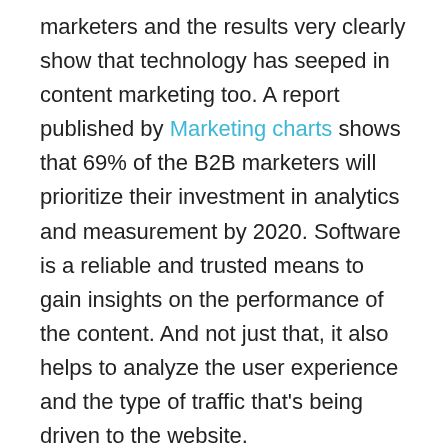marketers and the results very clearly show that technology has seeped in content marketing too. A report published by Marketing charts shows that 69% of the B2B marketers will prioritize their investment in analytics and measurement by 2020. Software is a reliable and trusted means to gain insights on the performance of the content. And not just that, it also helps to analyze the user experience and the type of traffic that's being driven to the website.
Outsourcing
What is the first thing you do to make sure